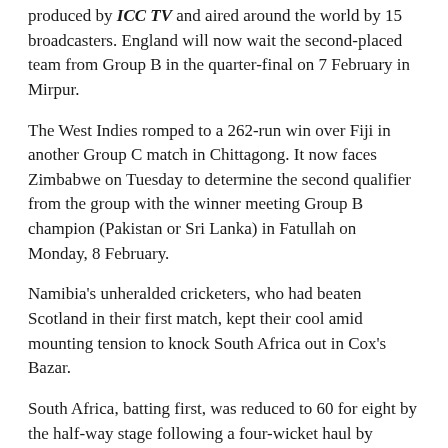produced by ICC TV and aired around the world by 15 broadcasters. England will now wait the second-placed team from Group B in the quarter-final on 7 February in Mirpur.
The West Indies romped to a 262-run win over Fiji in another Group C match in Chittagong. It now faces Zimbabwe on Tuesday to determine the second qualifier from the group with the winner meeting Group B champion (Pakistan or Sri Lanka) in Fatullah on Monday, 8 February.
Namibia's unheralded cricketers, who had beaten Scotland in their first match, kept their cool amid mounting tension to knock South Africa out in Cox's Bazar.
South Africa, batting first, was reduced to 60 for eight by the half-way stage following a four-wicket haul by Michael van Lingen. But Willem Ludick hit 42 in a ninth-wicket stand of 55 runs with Lutho Sipamla as the young Proteas added a further 76 runs.
Defending a modest 136 for nine in 50 overs, South Africa claimed a wicket off the first ball and continued to dismiss